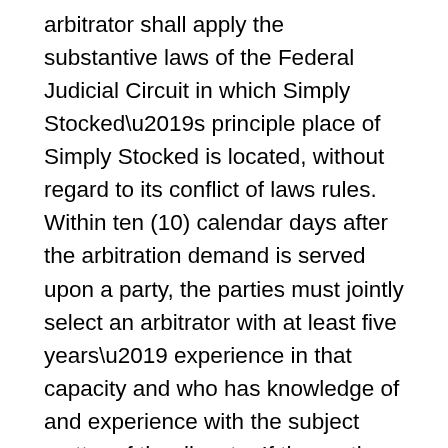arbitrator shall apply the substantive laws of the Federal Judicial Circuit in which Simply Stocked’s principle place of Simply Stocked is located, without regard to its conflict of laws rules. Within ten (10) calendar days after the arbitration demand is served upon a party, the parties must jointly select an arbitrator with at least five years’ experience in that capacity and who has knowledge of and experience with the subject matter of the dispute. If the parties do not agree on an arbitrator within ten (10) calendar days, a party may petition the AAA to appoint an arbitrator, who must satisfy the same experience requirement. In the event of a dispute, the arbitrator shall decide the